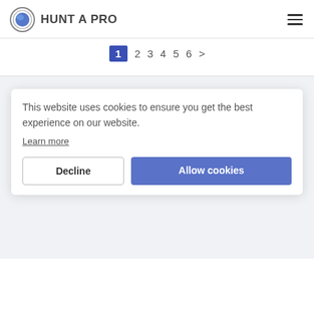HUNT A PRO
1  2  3  4  5  6  >
About
Help & Support
Cookies Policy
This website uses cookies to ensure you get the best experience on our website.
Learn more
Become a Partner
Contacts
Decline   Allow cookies
© 2022 Hunt a Pro